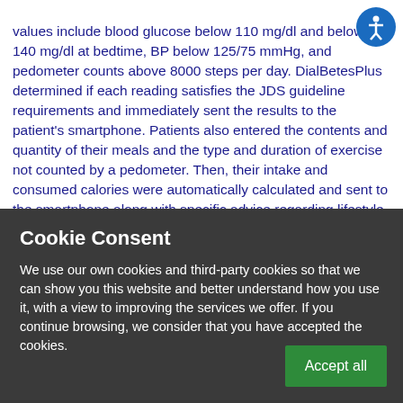values include blood glucose below 110 mg/dl and below 140 mg/dl at bedtime, BP below 125/75 mmHg, and pedometer counts above 8000 steps per day. DialBetesPlus determined if each reading satisfies the JDS guideline requirements and immediately sent the results to the patient's smartphone. Patients also entered the contents and quantity of their meals and the type and duration of exercise not counted by a pedometer. Then, their intake and consumed calories were automatically calculated and sent to the smartphone along with specific advice regarding lifestyle modifications based on JDS guidelines. Critical values with blood glucose levels above 400 mg/dl or below 70 mg/dl, systolic BP
Cookie Consent
We use our own cookies and third-party cookies so that we can show you this website and better understand how you use it, with a view to improving the services we offer. If you continue browsing, we consider that you have accepted the cookies.